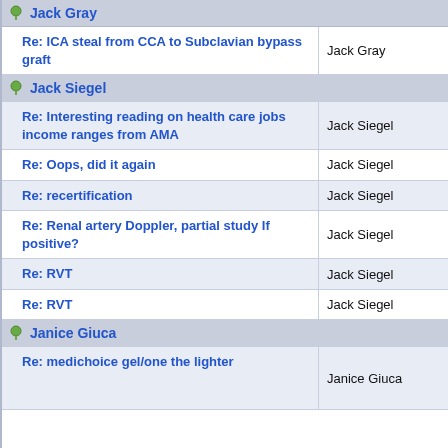Jack Gray (partial/cut off at top)
Re: ICA steal from CCA to Subclavian bypass graft — Jack Gray
Jack Siegel (group header)
Re: Interesting reading on health care jobs income ranges from AMA — Jack Siegel
Re: Oops, did it again — Jack Siegel
Re: recertification — Jack Siegel
Re: Renal artery Doppler, partial study If positive? — Jack Siegel
Re: RVT — Jack Siegel
Re: RVT — Jack Siegel
Janice Giuca (group header)
Re: medichoice gel/one the lighter (cut off) — Janice Giuca